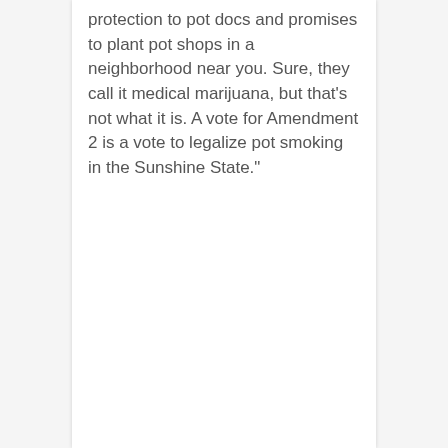protection to pot docs and promises to plant pot shops in a neighborhood near you. Sure, they call it medical marijuana, but that's not what it is. A vote for Amendment 2 is a vote to legalize pot smoking in the Sunshine State."